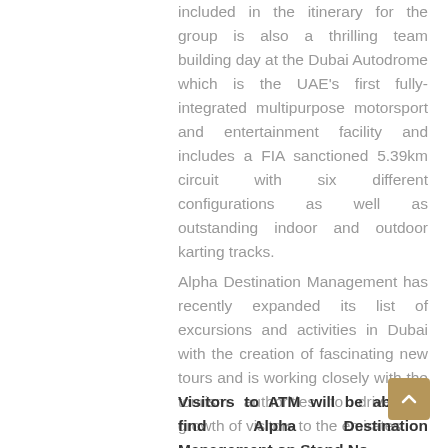included in the itinerary for the group is also a thrilling team building day at the Dubai Autodrome which is the UAE's first fully-integrated multipurpose motorsport and entertainment facility and includes a FIA sanctioned 5.39km circuit with six different configurations as well as outstanding indoor and outdoor karting tracks.
Alpha Destination Management has recently expanded its list of excursions and activities in Dubai with the creation of fascinating new tours and is working closely with the tourism authorities to drive the growth of visitors to the emirates.
Visitors to ATM will be able to find Alpha Destination Management on Stand No.